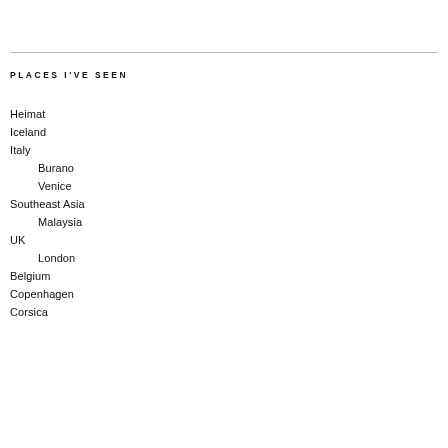PLACES I'VE SEEN
Heimat
Iceland
Italy
Burano
Venice
Southeast Asia
Malaysia
UK
London
Belgium
Copenhagen
Corsica